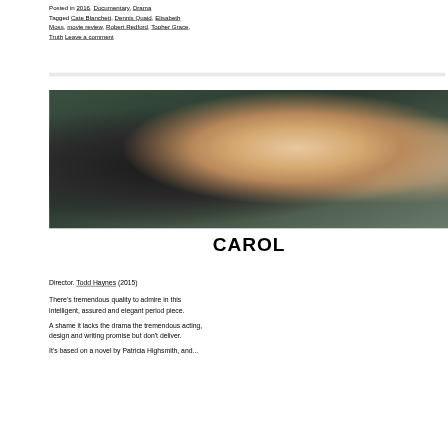Posted in 2016, Documentary, Drama
Tagged Cate Blanchett, Dennis Quaid, Elisabeth Moss, movie review, Robert Redford, Topher Grace, Truth Leave a comment
[Figure (photo): Movie still from Carol showing a woman with blonde hair (Cate Blanchett) and a man in a dark suit facing away from camera, with a green/teal background]
CAROL
Director. Todd Haynes (2015)
There's tremendous quality to admire in this intelligent, assured and elegant period piece.
A shame it lacks the drama the tremendous acting, design and writing promise but don't deliver.
It's based on a novel by Patricia Highsmith, and...